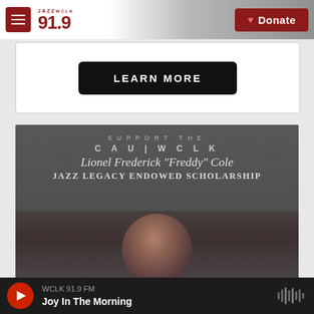JAZZ WCLK 91.9 | Donate
LEARN MORE
[Figure (photo): CAU/WCLK Lionel Frederick 'Freddy' Cole Jazz Legacy Endowed Scholarship promotional banner with portrait photo of Freddy Cole]
WCLK 91.9 FM | Joy In The Morning